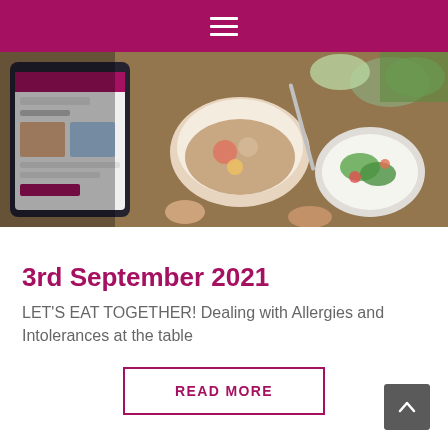≡
[Figure (photo): Overhead view of a dining table with food dishes, bowls, and a tablet device showing a food/health website, with people's hands visible.]
3rd September 2021
LET'S EAT TOGETHER! Dealing with Allergies and Intolerances at the table
READ MORE